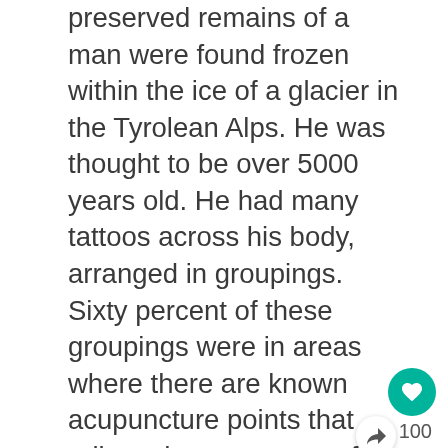preserved remains of a man were found frozen within the ice of a glacier in the Tyrolean Alps. He was thought to be over 5000 years old. He had many tattoos across his body, arranged in groupings. Sixty percent of these groupings were in areas where there are known acupuncture points that relieve the symptoms of spinal and intestinal conditions. When further investigated, it was evident that he had been suffering from ailments in his lower spine and legs, and his guts contained a worm infestation.
The original Chinese philosophy of acupuncture was centralized around a belief that meridians in the body